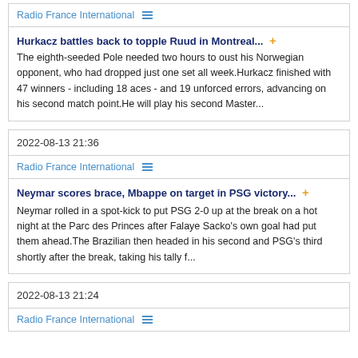Radio France International
Hurkacz battles back to topple Ruud in Montreal...
The eighth-seeded Pole needed two hours to oust his Norwegian opponent, who had dropped just one set all week.Hurkacz finished with 47 winners - including 18 aces - and 19 unforced errors, advancing on his second match point.He will play his second Master...
2022-08-13 21:36
Radio France International
Neymar scores brace, Mbappe on target in PSG victory...
Neymar rolled in a spot-kick to put PSG 2-0 up at the break on a hot night at the Parc des Princes after Falaye Sacko's own goal had put them ahead.The Brazilian then headed in his second and PSG's third shortly after the break, taking his tally f...
2022-08-13 21:24
Radio France International